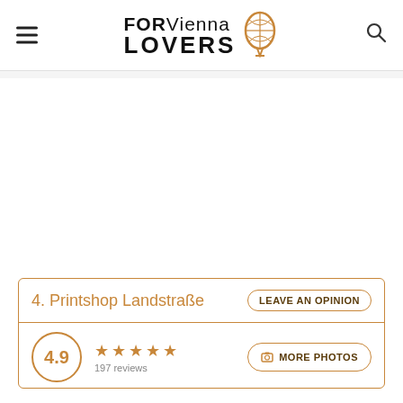FOR Vienna LOVERS
4. Printshop Landstraße
LEAVE AN OPINION
4.9 ★★★★★ 197 reviews
MORE PHOTOS